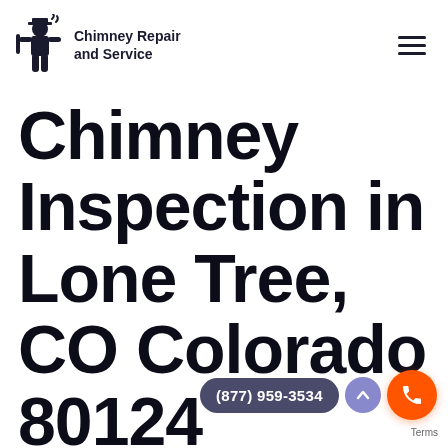Chimney Repair and Service
Chimney Inspection in Lone Tree, CO Colorado 80124
(877) 959-3534